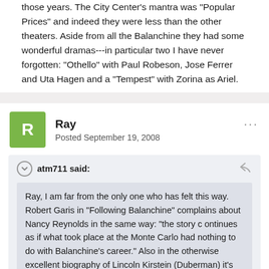those years. The City Center's mantra was "Popular Prices" and indeed they were less than the other theaters. Aside from all the Balanchine they had some wonderful dramas---in particular two I have never forgotten: "Othello" with Paul Robeson, Jose Ferrer and Uta Hagen and a "Tempest" with Zorina as Ariel.
Ray
Posted September 19, 2008
atm711 said:
Ray, I am far from the only one who has felt this way. Robert Garis in "Following Balanchine" complains about Nancy Reynolds in the same way: "the story c ontinues as if what took place at the Monte Carlo had nothing to do with Balanchine's career." Also in the otherwise excellent biography of Lincoln Kirstein (Duberman) it's more of the same. Perhaps I am so sensitive about it because those Monte Carlo two years were my introduction to Balanchine: